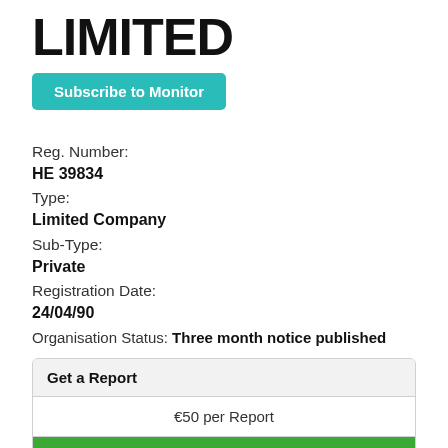LIMITED
Subscribe to Monitor
Reg. Number:
HE 39834
Type:
Limited Company
Sub-Type:
Private
Registration Date:
24/04/90
Organisation Status: Three month notice published
| Get a Report |
| --- |
| €50 per Report |
| Add to Cart |